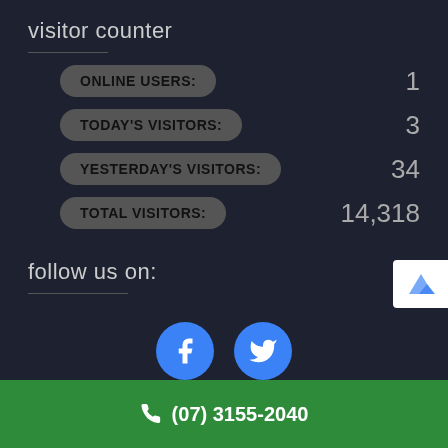visitor counter
ONLINE USERS: 1
TODAY'S VISITORS: 3
YESTERDAY'S VISITORS: 34
TOTAL VISITORS: 14,318
follow us on:
[Figure (illustration): Facebook and Twitter social media icon circles]
(07) 3155-2040